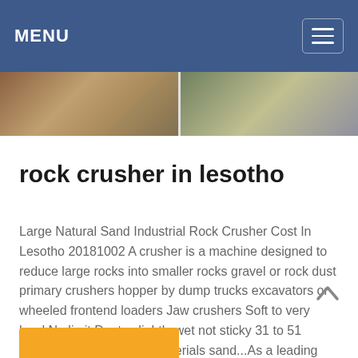MENU
[Figure (photo): Two side-by-side photos of rock crushing equipment and quarry site operations]
rock crusher in lesotho
Large Natural Sand Industrial Rock Crusher Cost In Lesotho 20181002 A crusher is a machine designed to reduce large rocks into smaller rocks gravel or rock dust primary crushers hopper by dump trucks excavators or wheeled frontend loaders Jaw crushers Soft to very hard No limit Dry to slightly wet not sticky 31 to 51 Heavy mining Quarried materials sand...As a leading global manufacturer of ...